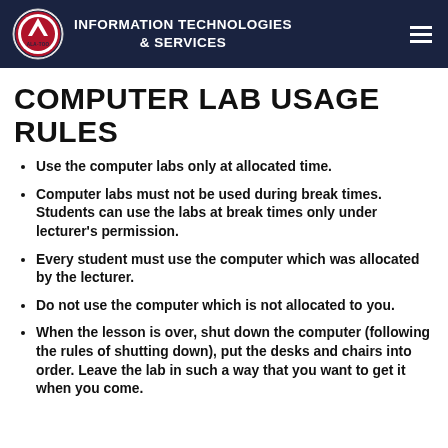INFORMATION TECHNOLOGIES & SERVICES
COMPUTER LAB USAGE RULES
Use the computer labs only at allocated time.
Computer labs must not be used during break times. Students can use the labs at break times only under lecturer's permission.
Every student must use the computer which was allocated by the lecturer.
Do not use the computer which is not allocated to you.
When the lesson is over, shut down the computer (following the rules of shutting down), put the desks and chairs into order. Leave the lab in such a way that you want to get it when you come.